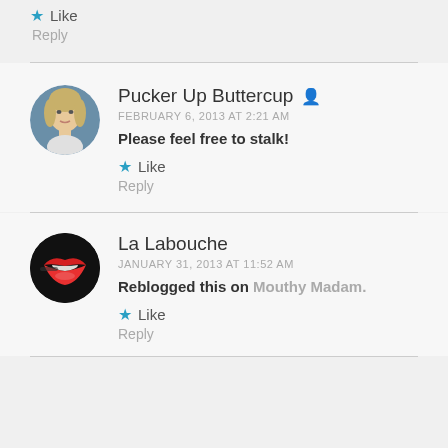Like
Reply
Pucker Up Buttercup
FEBRUARY 6, 2013 AT 2:21 AM
Please feel free to stalk!
Like
Reply
La Labouche
JANUARY 31, 2013 AT 11:52 AM
Reblogged this on Mouthy Madam.
Like
Reply